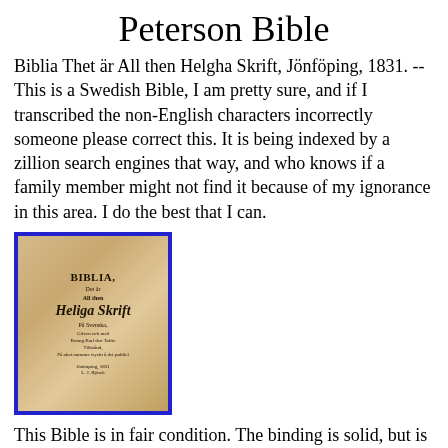Peterson Bible
Biblia Thet är All then Helgha Skrift, Jönföping, 1831. --This is a Swedish Bible, I am pretty sure, and if I transcribed the non-English characters incorrectly someone please correct this. It is being indexed by a zillion search engines that way, and who knows if a family member might not find it because of my ignorance in this area. I do the best that I can.
[Figure (photo): Cover of Biblia, Heliga Skrift, a Swedish Bible from Jönföping, 1831, shown with a blue border.]
This Bible is in fair condition. The binding is solid, but is holding on by the ropes. The binding is wooden.